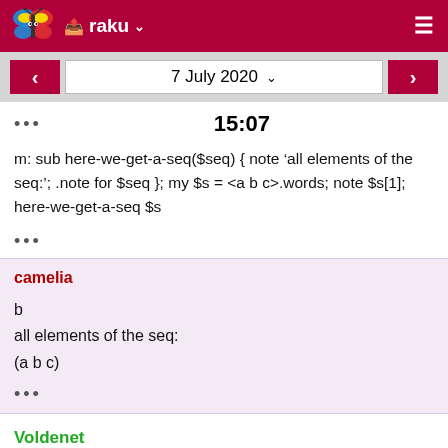raku
7 July 2020
15:07
m: sub here-we-get-a-seq($seq) { note 'all elements of the seq:'; .note for $seq }; my $s = <a b c>.words; note $s[1]; here-we-get-a-seq $s
camelia
b
all elements of the seq:
(a b c)
Voldenet